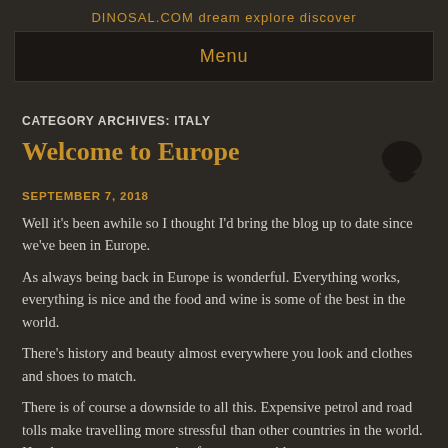DINOSAL.COM dream explore discover
Menu
CATEGORY ARCHIVES: ITALY
Welcome to Europe
SEPTEMBER 7, 2018
Well it's been awhile so I thought I'd bring the blog up to date since we've been in Europe.
As always being back in Europe is wonderful. Everything works, everything is nice and the food and wine is some of the best in the world.
There's history and beauty almost everywhere you look and clothes and shoes to match.
There is of course a downside to all this. Expensive petrol and road tolls make travelling more stressful than other countries in the world. Hotels are way too expensive for us to consider every...